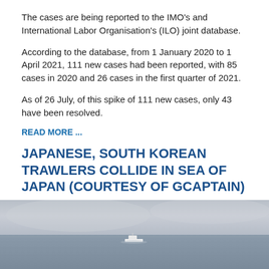The cases are being reported to the IMO's and International Labor Organisation's (ILO) joint database.
According to the database, from 1 January 2020 to 1 April 2021, 111 new cases had been reported, with 85 cases in 2020 and 26 cases in the first quarter of 2021.
As of 26 July, of this spike of 111 new cases, only 43 have been resolved.
READ MORE ...
JAPANESE, SOUTH KOREAN TRAWLERS COLLIDE IN SEA OF JAPAN (COURTESY OF GCAPTAIN)
Demo / 21 November 2018 /
[Figure (photo): Aerial or high-angle photograph of a ship/vessel on a grey sea under overcast sky.]